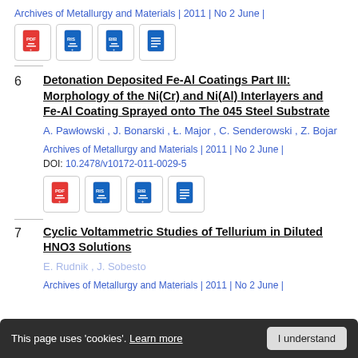Archives of Metallurgy and Materials | 2011 | No 2 June |
[Figure (other): Row of four document icon buttons: PDF, RIS, BIB, plain text]
6
Detonation Deposited Fe-Al Coatings Part III: Morphology of the Ni(Cr) and Ni(Al) Interlayers and Fe-Al Coating Sprayed onto The 045 Steel Substrate
A. Pawłowski , J. Bonarski , Ł. Major , C. Senderowski , Z. Bojar
Archives of Metallurgy and Materials | 2011 | No 2 June | DOI: 10.2478/v10172-011-0029-5
[Figure (other): Row of four document icon buttons: PDF, RIS, BIB, plain text]
7
Cyclic Voltammetric Studies of Tellurium in Diluted HNO3 Solutions
E. Rudnik , J. Sobesto
Archives of Metallurgy and Materials | 2011 | No 2 June |
This page uses 'cookies'. Learn more   I understand